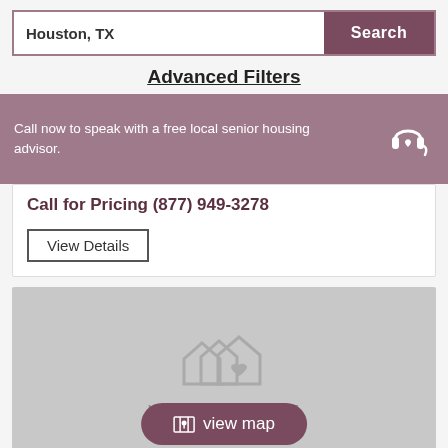Houston, TX
Search
Advanced Filters
Call now to speak with a free local senior housing advisor.
Call for Pricing (877) 949-3278
View Details
[Figure (illustration): Gray placeholder image with house/heart icon and 'NO IMAGE AVAILABLE' text, with a 'view map' button overlay]